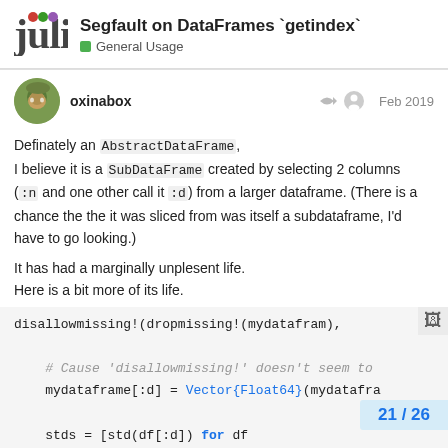Segfault on DataFrames `getindex` — General Usage
oxinabox — Feb 2019
Definately an AbstractDataFrame,
I believe it is a SubDataFrame created by selecting 2 columns (:n and one other call it :d) from a larger dataframe. (There is a chance the the it was sliced from was itself a subdataframe, I'd have to go looking.)
It has had a marginally unplesent life.
Here is a bit more of its life.
[Figure (screenshot): Code block showing Julia code: disallowmissing!(dropmissing!(mydataframe)), # Cause 'disallowmissing!' doesn't seem to, mydataframe[:d] = Vector{Float64}(mydataframe..., stds = [std(df[:d]) for df, for (i, df) in enumerate(g...]
21 / 26